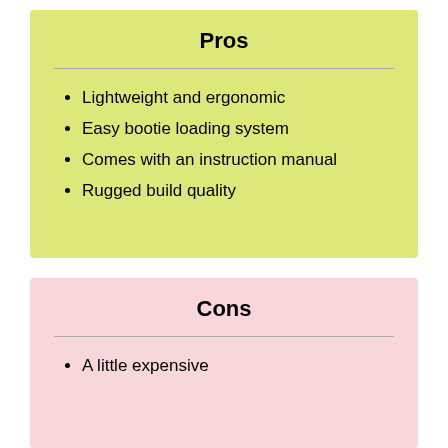Pros
Lightweight and ergonomic
Easy bootie loading system
Comes with an instruction manual
Rugged build quality
Cons
A little expensive